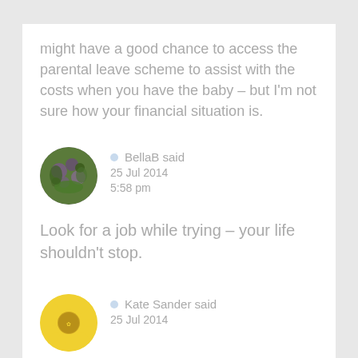might have a good chance to access the parental leave scheme to assist with the costs when you have the baby – but I'm not sure how your financial situation is.
BellaB said
25 Jul 2014
5:58 pm
Look for a job while trying – your life shouldn't stop.
Kate Sander said
25 Jul 2014